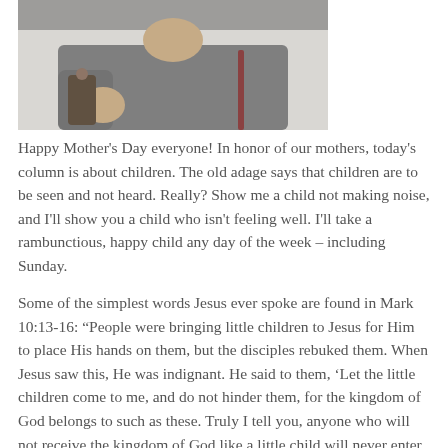[Figure (photo): Partial photo of a person wearing a grey sweater, cropped to show torso and chin area]
Happy Mother's Day everyone! In honor of our mothers, today's column is about children. The old adage says that children are to be seen and not heard. Really? Show me a child not making noise, and I'll show you a child who isn't feeling well. I'll take a rambunctious, happy child any day of the week – including Sunday.
Some of the simplest words Jesus ever spoke are found in Mark 10:13-16: “People were bringing little children to Jesus for Him to place His hands on them, but the disciples rebuked them. When Jesus saw this, He was indignant. He said to them, ‘Let the little children come to me, and do not hinder them, for the kingdom of God belongs to such as these. Truly I tell you, anyone who will not receive the kingdom of God like a little child will never enter it.’ And He took the children in His arms,